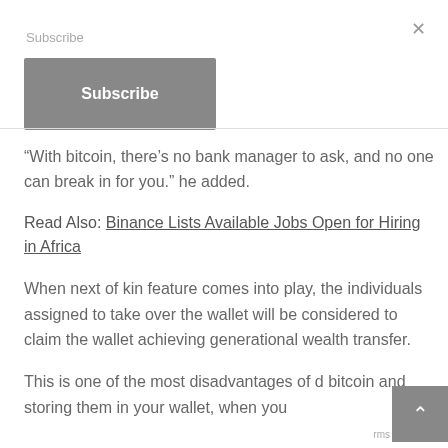Subscribe
Subscribe
“With bitcoin, there’s no bank manager to ask, and no one can break in for you.” he added.
Read Also: Binance Lists Available Jobs Open for Hiring in Africa
When next of kin feature comes into play, the individuals assigned to take over the wallet will be considered to claim the wallet achieving generational wealth transfer.
This is one of the most disadvantages of d... bitcoin and storing them in your wallet, when you